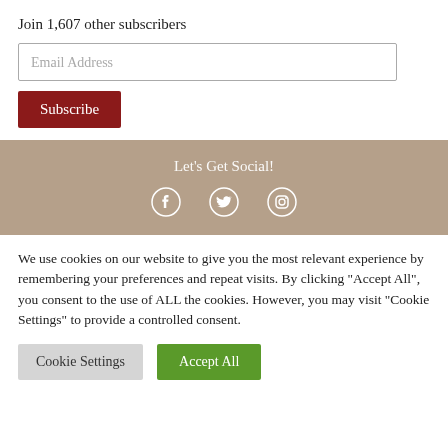Join 1,607 other subscribers
Email Address
Subscribe
Let's Get Social!
[Figure (infographic): Social media icons: Facebook, Twitter, Instagram]
We use cookies on our website to give you the most relevant experience by remembering your preferences and repeat visits. By clicking "Accept All", you consent to the use of ALL the cookies. However, you may visit "Cookie Settings" to provide a controlled consent.
Cookie Settings
Accept All